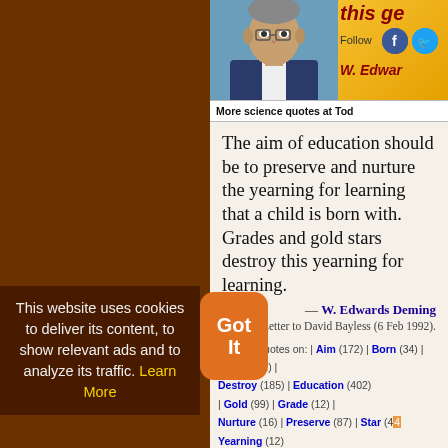[Figure (photo): Partial ad banner showing a person's photo and social media follow icons for W. Edwards Deming with text 'More science quotes at Tod...']
The aim of education should be to preserve and nurture the yearning for learning that a child is born with. Grades and gold stars destroy this yearning for learning.
— W. Edwards Deming
Letter to David Bayless (6 Feb 1992).
Science quotes on: | Aim (172) | Born (34) | Child (322) | Destroy (185) | Education (402) | Gold (99) | Grade (12) | Nurture (16) | Preserve (87) | Star (44) | Yearning (12)
This website uses cookies to deliver its content, to show relevant ads and to analyze its traffic. Learn More
The astronomer who